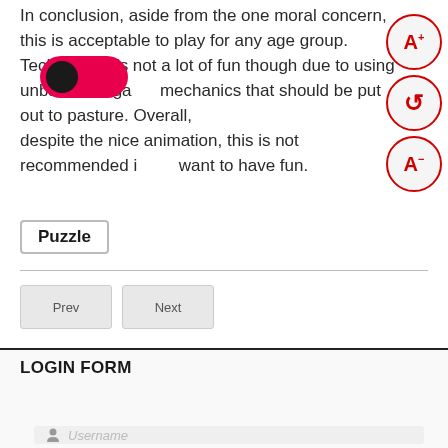In conclusion, aside from the one moral concern, this is acceptable to play for any age group. Technically it's not a lot of fun though due to using unbalanced game mechanics that should be put out to pasture. Overall, despite the nice animation, this is not recommended if you want to have fun.
[Figure (other): Dark mode toggle button (red pill-shaped toggle with moon icon) in top-left, and font size controls (A+, reset, A-) in red circles on top-right]
Puzzle
Prev   Next
LOGIN FORM
[Figure (other): Red rounded Support me button with Ko-fi cup icon]
Username